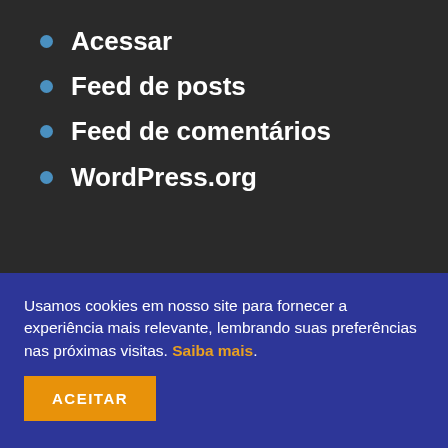Acessar
Feed de posts
Feed de comentários
WordPress.org
Usamos cookies em nosso site para fornecer a experiência mais relevante, lembrando suas preferências nas próximas visitas. Saiba mais.
ACEITAR